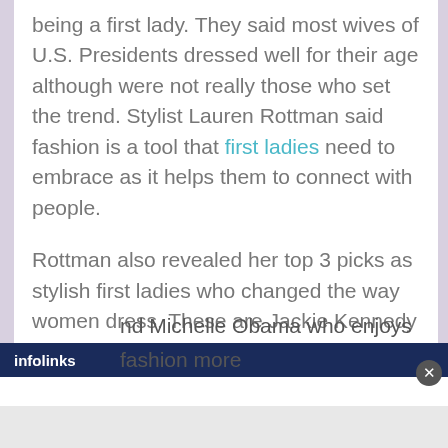being a first lady. They said most wives of U.S. Presidents dressed well for their age although were not really those who set the trend. Stylist Lauren Rottman said fashion is a tool that first ladies need to embrace as it helps them to connect with people.
Rottman also revealed her top 3 picks as stylish first ladies who changed the way women dress. These are Jackie Kennedy known for her pillbox hat and A line dresses, Nancy Reagan who loved the color red and even influenced the Republicans to adopt it and Michelle Obama who enjoys fashion more